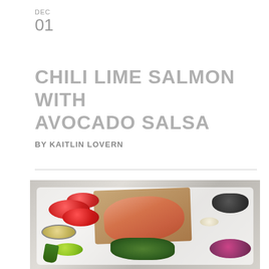DEC
01
CHILI LIME SALMON WITH AVOCADO SALSA
BY KAITLIN LOVERN
[Figure (photo): Overhead flat-lay photo of salmon fillet on brown paper, surrounded by ingredients: cherry tomatoes on the vine, a small bowl of olive oil, avocado, garlic cloves, lime, jalapeño, fresh cilantro, and a red onion, all arranged on a white dish towel on a marble countertop.]